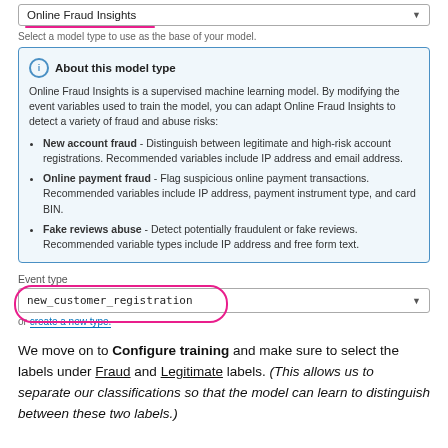[Figure (screenshot): UI dropdown showing 'Online Fraud Insights' selected with pink underline annotation, subtext 'Select a model type to use as the base of your model.', and an info box titled 'About this model type' with description and bullet points for New account fraud, Online payment fraud, and Fake reviews abuse. Below is an 'Event type' label and a dropdown showing 'new_customer_registration' circled in pink, with an 'or create a new type.' link.]
We move on to Configure training and make sure to select the labels under Fraud and Legitimate labels. (This allows us to separate our classifications so that the model can learn to distinguish between these two labels.)